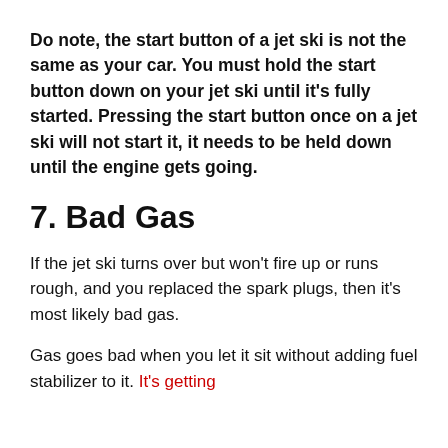Do note, the start button of a jet ski is not the same as your car. You must hold the start button down on your jet ski until it's fully started. Pressing the start button once on a jet ski will not start it, it needs to be held down until the engine gets going.
7. Bad Gas
If the jet ski turns over but won't fire up or runs rough, and you replaced the spark plugs, then it's most likely bad gas.
Gas goes bad when you let it sit without adding fuel stabilizer to it. It's getting